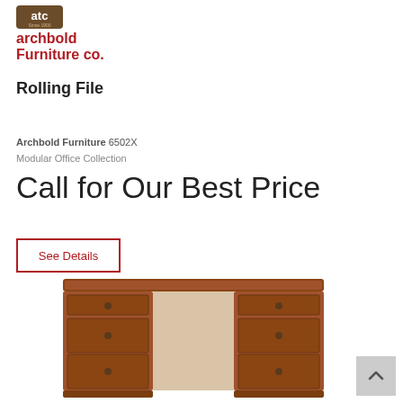[Figure (logo): Archbold Furniture Co. logo with red text and small icon]
Rolling File
Archbold Furniture 6502X
Modular Office Collection
Call for Our Best Price
See Details
[Figure (photo): Wooden desk with multiple drawers in cherry/oak finish, kneehole desk style]